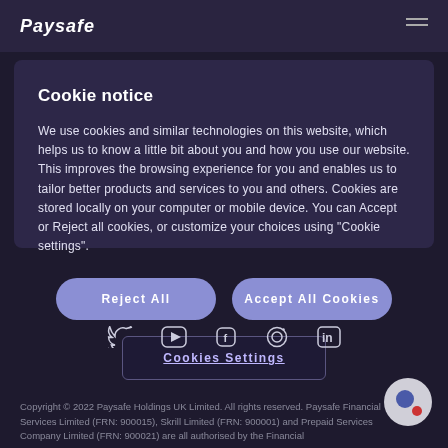Paysafe
Cookie notice
We use cookies and similar technologies on this website, which helps us to know a little bit about you and how you use our website. This improves the browsing experience for you and enables us to tailor better products and services to you and others. Cookies are stored locally on your computer or mobile device. You can Accept or Reject all cookies, or customize your choices using "Cookie settings".
Reject All
Accept All Cookies
Cookies Settings
Copyright © 2022 Paysafe Holdings UK Limited. All rights reserved. Paysafe Financial Services Limited (FRN: 900015), Skrill Limited (FRN: 900001) and Prepaid Services Company Limited (FRN: 900021) are all authorised by the Financial